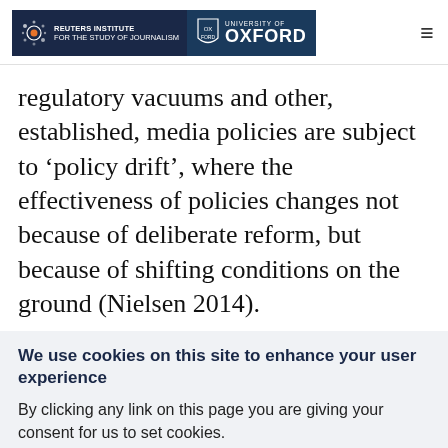[Figure (logo): Reuters Institute for the Study of Journalism and University of Oxford logos side by side on dark navy background, with hamburger menu icon on the right]
regulatory vacuums and other, established, media policies are subject to ‘policy drift’, where the effectiveness of policies changes not because of deliberate reform, but because of shifting conditions on the ground (Nielsen 2014).
We use cookies on this site to enhance your user experience
By clicking any link on this page you are giving your consent for us to set cookies.
OK, I agree
More info